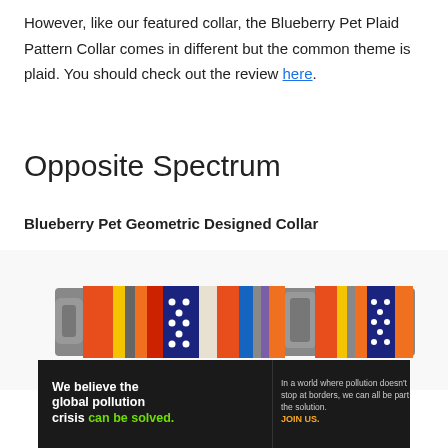However, like our featured collar, the Blueberry Pet Plaid Pattern Collar comes in different but the common theme is plaid. You should check out the review here.
Opposite Spectrum
Blueberry Pet Geometric Designed Collar
[Figure (photo): A colorful dog collar with geometric and striped patterns in red, orange, yellow, blue, navy with white dots, gray and other colors, shown horizontally with metal/plastic hardware.]
[Figure (infographic): Pure Earth advertisement banner: 'We believe the global pollution crisis can be solved.' with green text on dark background, Pure Earth logo on right side.]